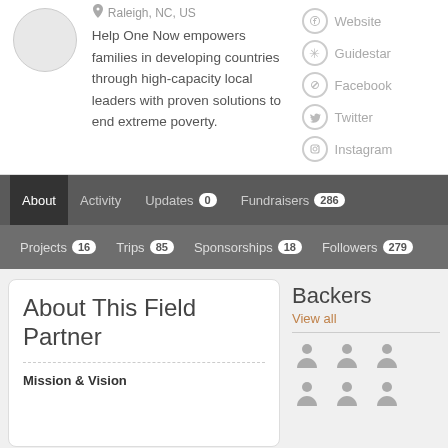Raleigh, NC, US
Help One Now empowers families in developing countries through high-capacity local leaders with proven solutions to end extreme poverty.
Website
Guidestar
Facebook
Twitter
Instagram
About
Activity
Updates 0
Fundraisers 286
Projects 16
Trips 85
Sponsorships 18
Followers 279
About This Field Partner
Mission & Vision
Backers
View all